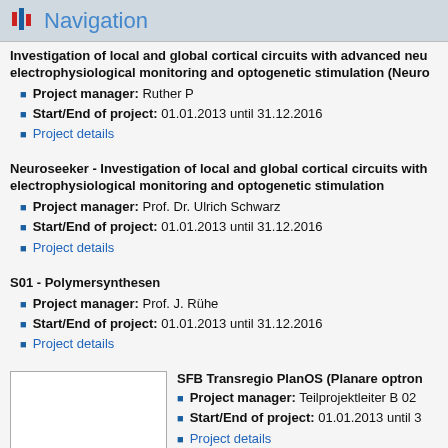Navigation
Investigation of local and global cortical circuits with advanced neu electrophysiological monitoring and optogenetic stimulation (Neuro
Project manager: Ruther P
Start/End of project: 01.01.2013 until 31.12.2016
Project details
Neuroseeker - Investigation of local and global cortical circuits with electrophysiological monitoring and optogenetic stimulation
Project manager: Prof. Dr. Ulrich Schwarz
Start/End of project: 01.01.2013 until 31.12.2016
Project details
S01 - Polymersynthesen
Project manager: Prof. J. Rühe
Start/End of project: 01.01.2013 until 31.12.2016
Project details
[Figure (photo): Blank white image placeholder]
SFB Transregio PlanOS (Planare optron
Project manager: Teilprojektleiter B 02
Start/End of project: 01.01.2013 until 3
Project details